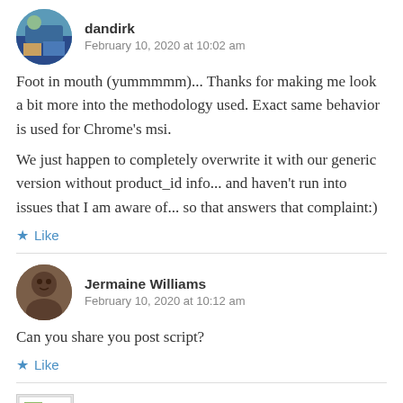dandirk
February 10, 2020 at 10:02 am
Foot in mouth (yummmmm)... Thanks for making me look a bit more into the methodology used. Exact same behavior is used for Chrome's msi.
We just happen to completely overwrite it with our generic version without product_id info... and haven't run into issues that I am aware of... so that answers that complaint:)
Like
Jermaine Williams
February 10, 2020 at 10:12 am
Can you share you post script?
Like
Jeff Poblocki (@jpoblocki)
February 10, 2020 at 12:42 pm